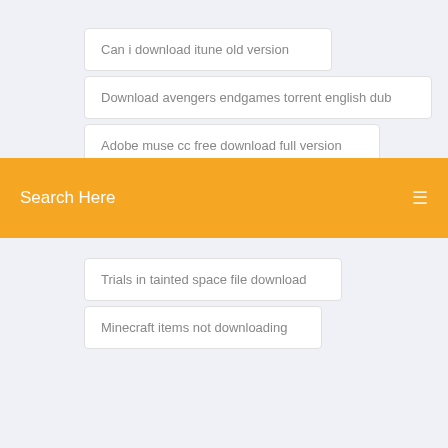Can i download itune old version
Download avengers endgames torrent english dub
Adobe muse cc free download full version
(partially visible item)
Search Here
Trials in tainted space file download
Minecraft items not downloading